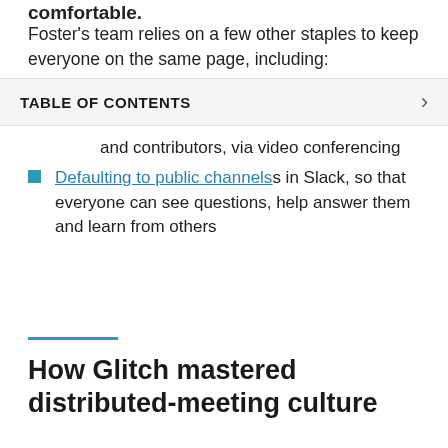comfortable.
Foster's team relies on a few other staples to keep everyone on the same page, including:
TABLE OF CONTENTS
and contributors, via video conferencing
Defaulting to public channels in Slack, so that everyone can see questions, help answer them and learn from others
How Glitch mastered distributed-meeting culture